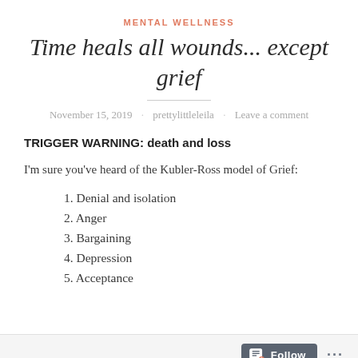MENTAL WELLNESS
Time heals all wounds... except grief
November 15, 2019 · prettylittleleila · Leave a comment
TRIGGER WARNING: death and loss
I'm sure you've heard of the Kubler-Ross model of Grief:
1. Denial and isolation
2. Anger
3. Bargaining
4. Depression
5. Acceptance
Follow